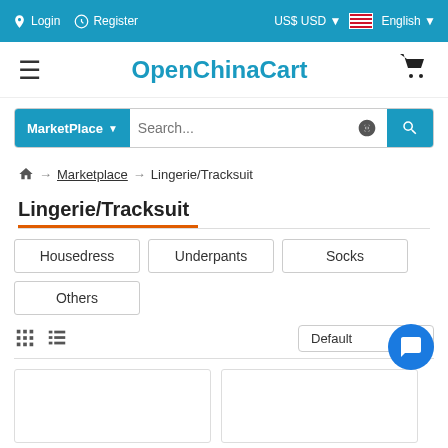Login   Register   US$ USD   English
[Figure (screenshot): OpenChinaCart website logo with hamburger menu and shopping cart icon]
Search...
⌂ → Marketplace → Lingerie/Tracksuit
Lingerie/Tracksuit
Housedress
Underpants
Socks
Others
Default